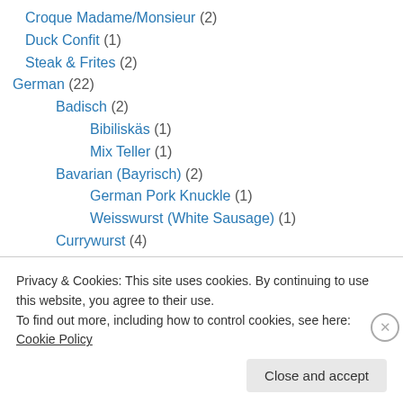Croque Madame/Monsieur (2)
Duck Confit (1)
Steak & Frites (2)
German (22)
Badisch (2)
Bibiliskäs (1)
Mix Teller (1)
Bavarian (Bayrisch) (2)
German Pork Knuckle (1)
Weisswurst (White Sausage) (1)
Currywurst (4)
Duck Breast (1)
Hessian (Hessisch) (2)
Privacy & Cookies: This site uses cookies. By continuing to use this website, you agree to their use. To find out more, including how to control cookies, see here: Cookie Policy